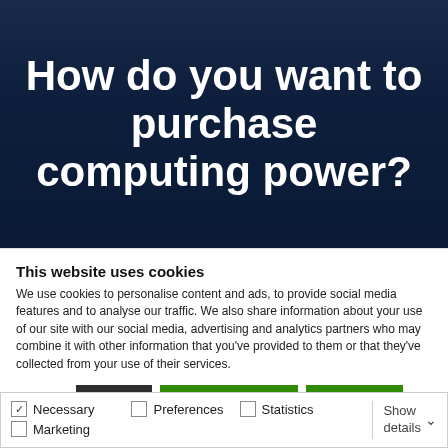How do you want to purchase computing power?
This website uses cookies
We use cookies to personalise content and ads, to provide social media features and to analyse our traffic. We also share information about your use of our site with our social media, advertising and analytics partners who may combine it with other information that you've provided to them or that they've collected from your use of their services.
Deny | Allow selection | Allow all
Necessary  Preferences  Statistics  Marketing  Show details